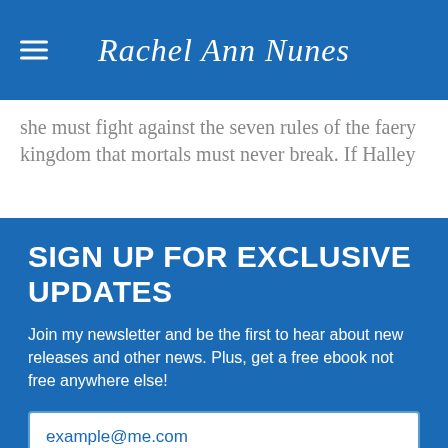Rachel Ann Nunes
she must fight against the seven rules of the faery kingdom that mortals must never break. If Halley
SIGN UP FOR EXCLUSIVE UPDATES
Join my newsletter and be the first to hear about new releases and other news. Plus, get a free ebook not free anywhere else!
example@me.com
SIGN ME UP!
✕